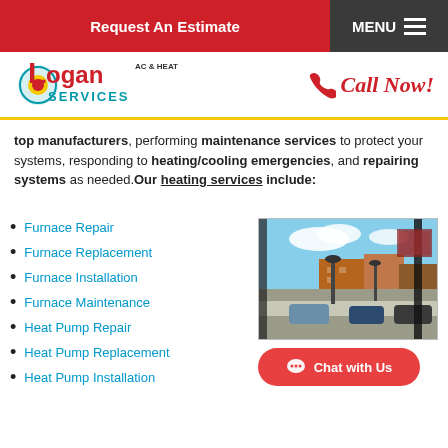Request An Estimate | MENU
[Figure (logo): Logan AC & Heat Services logo with red Logan text and teal SERVICES text]
Call Now!
top manufacturers, performing maintenance services to protect your systems, responding to heating/cooling emergencies, and repairing systems as needed.Our heating services include:
Furnace Repair
Furnace Replacement
Furnace Installation
Furnace Maintenance
Heat Pump Repair
Heat Pump Replacement
Heat Pump Installation
[Figure (photo): Street scene with lamp posts, parked cars, and brick buildings under blue sky]
Chat with Us